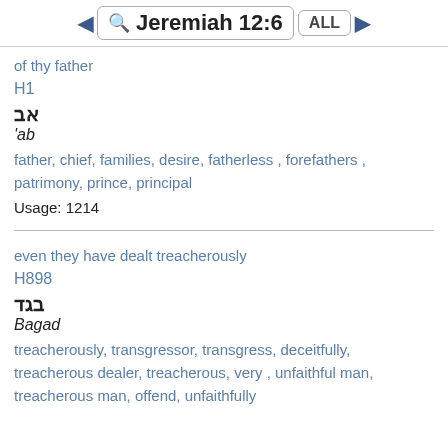◄ Jeremiah 12:6 ALL ►
of thy father
H1
אב
'ab
father, chief, families, desire, fatherless , forefathers , patrimony, prince, principal
Usage: 1214
even they have dealt treacherously
H898
בגד
Bagad
treacherously, transgressor, transgress, deceitfully, treacherous dealer, treacherous, very , unfaithful man, treacherous man, offend, unfaithfully